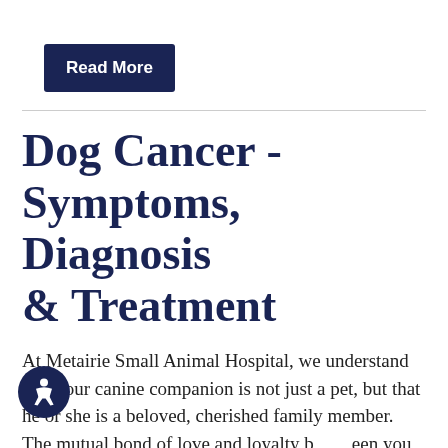[Figure (other): Dark navy blue 'Read More' button]
Dog Cancer - Symptoms, Diagnosis & Treatment
At Metairie Small Animal Hospital, we understand that your canine companion is not just a pet, but that he or she is a beloved, cherished family member. The mutual bond of love and loyalty between you can make a diagnosis of any form of dog cancer very difficult to hear. Our veterinarians